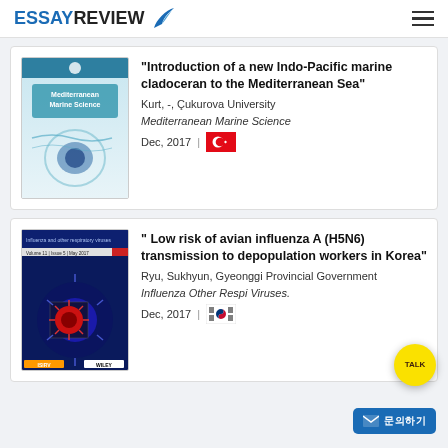ESSAYREVIEW
[Figure (photo): Cover of Mediterranean Marine Science journal]
"Introduction of a new Indo-Pacific marine cladoceran to the Mediterranean Sea"
Kurt, -, Çukurova University
Mediterranean Marine Science
Dec, 2017 | [Turkish flag]
[Figure (photo): Cover of Influenza and Other Respiratory Viruses journal]
" Low risk of avian influenza A (H5N6) transmission to depopulation workers in Korea"
Ryu, Sukhyun, Gyeonggi Provincial Government
Influenza Other Respi Viruses.
Dec, 2017 | [Korean flag]